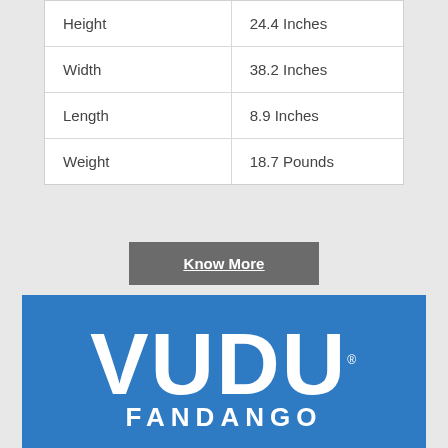| Height | 24.4 Inches |
| Width | 38.2 Inches |
| Length | 8.9 Inches |
| Weight | 18.7 Pounds |
Know More
[Figure (logo): VUDU logo on blue background with FANDANGO partially visible text below]